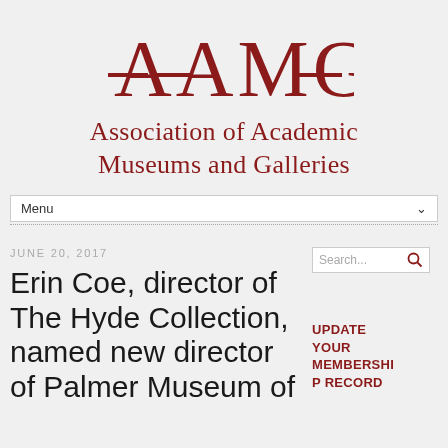[Figure (logo): AAMG logo — stylized text 'AAMG' in dark red with horizontal bar through A and G]
Association of Academic Museums and Galleries
Menu
JUNE 20, 2017
Erin Coe, director of The Hyde Collection, named new director of Palmer Museum of
Search...
UPDATE YOUR MEMBERSHIP RECORD